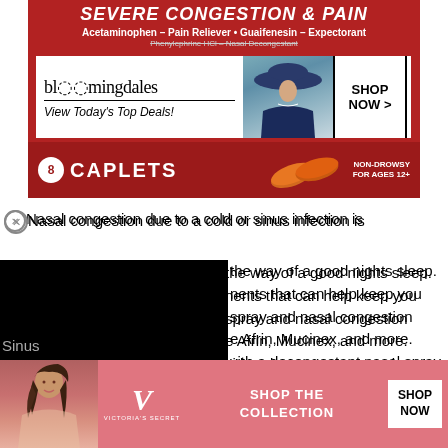[Figure (photo): Product packaging for Mucinex Sinus-Max Severe Congestion and Pain caplets in red box with 8 caplets, showing orange caplets, NON-DROWSY FOR AGES 12+ label. Active ingredients: Acetaminophen Pain Reliever, Guaifenesin Expectorant, Phenylephrine HCl Nasal Decongestant. Overlaid with a Bloomingdales advertisement showing logo, woman in hat, View Today's Top Deals!, SHOP NOW button.]
[Figure (screenshot): Screenshot of web article about nasal congestion remedies with black overlay rectangle covering left portion, and Victoria's Secret advertisement banner at bottom with CLOSE button overlay. Text visible: Nasal congestion due to a cold or sinus infection is [obscured] the way of a good nights sleep. [obscured]ments that can help keep you [obscured]spray and nasal congestion [obscured]e Afrin, Mucinex, and more. [obscured]with a decongestant nasal spray, [obscured]l membranes and may bring relief faster than a pill formulation. However, if you are looking to treat multiple symptoms that come with a cold or the flu, you may want to try a combination pill s[CLOSE]Advil Sinus [obscured] more than o[obscured]e]
Nasal congestion due to a cold or sinus infection is [obscured] the way of a good nights sleep. [obscured]ments that can help keep you [obscured]spray and nasal congestion [obscured]e Afrin, Mucinex, and more. [obscured]with a decongestant nasal spray, [obscured]l membranes and may bring relief faster than a pill formulation. However, if you are looking to treat multiple symptoms that come with a cold or the flu, you may want to try a combination pill s[...] Advil Sinus [...] more than o[...] e